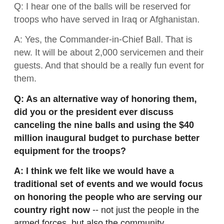Q: I hear one of the balls will be reserved for troops who have served in Iraq or Afghanistan.
A: Yes, the Commander-in-Chief Ball. That is new. It will be about 2,000 servicemen and their guests. And that should be a really fun event for them.
Q: As an alternative way of honoring them, did you or the president ever discuss canceling the nine balls and using the $40 million inaugural budget to purchase better equipment for the troops?
A: I think we felt like we would have a traditional set of events and we would focus on honoring the people who are serving our country right now -- not just the people in the armed forces, but also the community volunteers, the firemen, the policemen, the teachers, the people who serve at, you know, the -- well, it's called the StewPot in Dallas, people who work